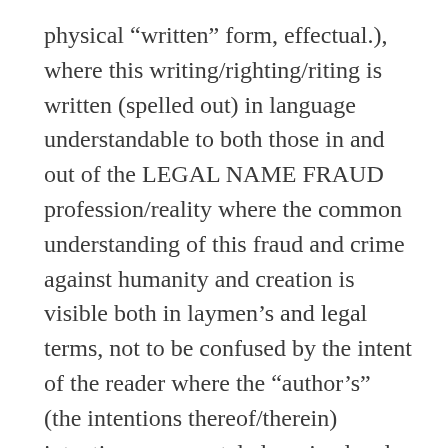physical “written” form, effectual.), where this writing/righting/riting is written (spelled out) in language understandable to both those in and out of the LEGAL NAME FRAUD profession/reality where the common understanding of this fraud and crime against humanity and creation is visible both in laymen’s and legal terms, not to be confused by the intent of the reader where the “author’s” (the intentions thereof/therein) intentions are crystal clear: i.e. legal word/world wranglers and twisters of “HEARINGS” where it is spelled out henceforth/herein with all potential(s) of phonics deception(s) hereby and therefore, removed, ad infinitum;